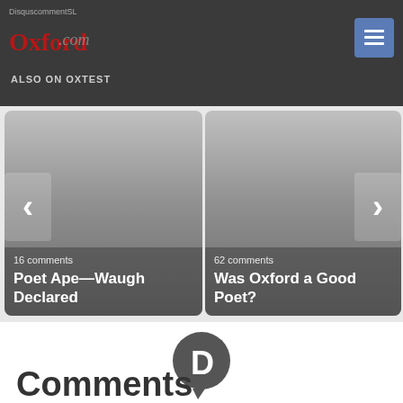DisquscommentSL
[Figure (logo): Oxford.com logo with red stylized text]
ALSO ON OXTEST
[Figure (screenshot): Two article cards: 'Poet Ape—Waugh Declared' with 16 comments, and 'Was Oxford a Good Poet?' with 62 comments. Navigation arrows on left and right.]
[Figure (logo): Disqus D logo icon in dark gray circle with speech bubble]
Comments